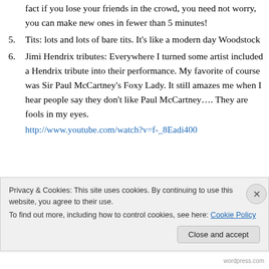fact if you lose your friends in the crowd, you need not worry, you can make new ones in fewer than 5 minutes!
5. Tits: lots and lots of bare tits. It's like a modern day Woodstock
6. Jimi Hendrix tributes: Everywhere I turned some artist included a Hendrix tribute into their performance. My favorite of course was Sir Paul McCartney's Foxy Lady. It still amazes me when I hear people say they don't like Paul McCartney…. They are fools in my eyes.
http://www.youtube.com/watch?v=f-_8Eadi400
Privacy & Cookies: This site uses cookies. By continuing to use this website, you agree to their use. To find out more, including how to control cookies, see here: Cookie Policy
Close and accept